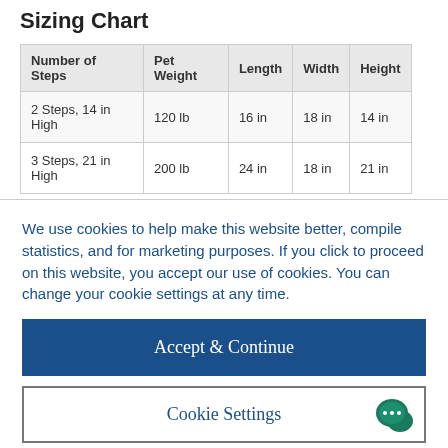Sizing Chart
| Number of Steps | Pet Weight | Length | Width | Height |
| --- | --- | --- | --- | --- |
| 2 Steps, 14 in High | 120 lb | 16 in | 18 in | 14 in |
| 3 Steps, 21 in High | 200 lb | 24 in | 18 in | 21 in |
We use cookies to help make this website better, compile statistics, and for marketing purposes. If you click to proceed on this website, you accept our use of cookies. You can change your cookie settings at any time.
Accept & Continue
Cookie Settings